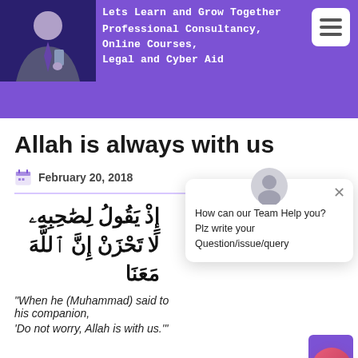Lets Learn and Grow Together
Professional Consultancy, Online Courses, Legal and Cyber Aid
Allah is always with us
February 20, 2018
إِذْ يَقُولُ لِصَٰحِبِهِۦ لَا تَحْزَنْ إِنَّ ٱللَّهَ مَعَنَا
"When he (Muhammad) said to his companion,
'Do not worry, Allah is with us.'"
[Figure (screenshot): Chat popup overlay with avatar, close button, and message: 'How can our Team Help you? Plz write your Question/issue/query']